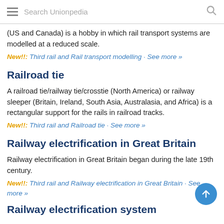Search Unionpedia
(US and Canada) is a hobby in which rail transport systems are modelled at a reduced scale.
New!!: Third rail and Rail transport modelling · See more »
Railroad tie
A railroad tie/railway tie/crosstie (North America) or railway sleeper (Britain, Ireland, South Asia, Australasia, and Africa) is a rectangular support for the rails in railroad tracks.
New!!: Third rail and Railroad tie · See more »
Railway electrification in Great Britain
Railway electrification in Great Britain began during the late 19th century.
New!!: Third rail and Railway electrification in Great Britain · See more »
Railway electrification system